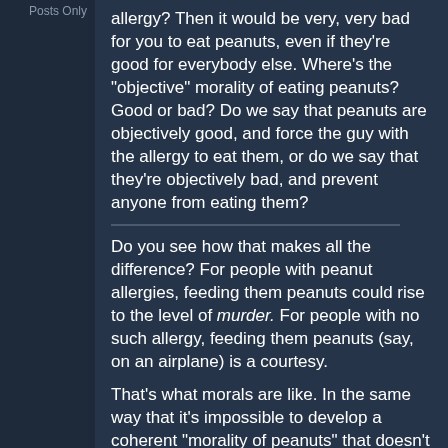Posts Only
allergy? Then it would be very, very bad for you to eat peanuts, even if they're good for everybody else. Where's the "objective" morality of eating peanuts? Good or bad? Do we say that peanuts are objectively good, and force the guy with the allergy to eat them, or do we say that they're objectively bad, and prevent anyone from eating them?
Do you see how that makes all the difference? For people with peanut allergies, feeding them peanuts could rise to the level of murder. For people with no such allergy, feeding them peanuts (say, on an airplane) is a courtesy.
That's what morals are like. In the same way that it's impossible to develop a coherent "morality of peanuts" that doesn't have a hundred-page codicil of exceptions, and